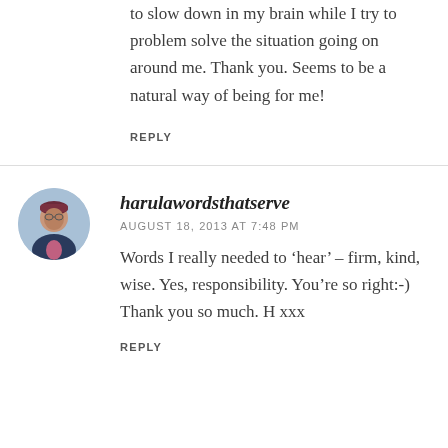to slow down in my brain while I try to problem solve the situation going on around me. Thank you. Seems to be a natural way of being for me!
REPLY
harulawordsthatserve
AUGUST 18, 2013 AT 7:48 PM
Words I really needed to ‘hear’ – firm, kind, wise. Yes, responsibility. You’re so right:-) Thank you so much. H xxx
REPLY